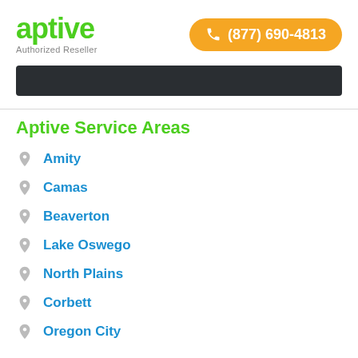[Figure (logo): Aptive green logo with 'Authorized Reseller' text below]
[Figure (infographic): Orange rounded button with phone icon and number (877) 690-4813]
[Figure (photo): Dark banner image, partially redacted/blurred]
Aptive Service Areas
Amity
Camas
Beaverton
Lake Oswego
North Plains
Corbett
Oregon City